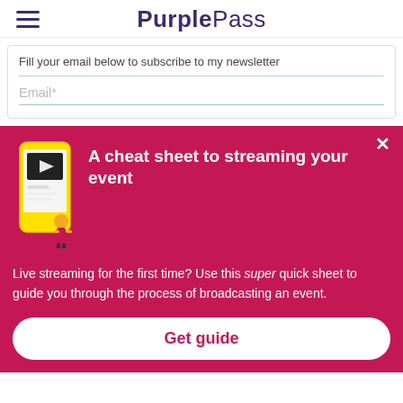PurplePass
Fill your email below to subscribe to my newsletter
Email*
A cheat sheet to streaming your event
Live streaming for the first time? Use this super quick sheet to guide you through the process of broadcasting an event.
Get guide